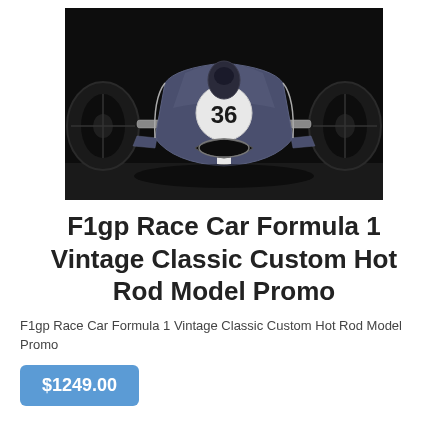[Figure (photo): Front-facing photograph of a vintage Formula 1 race car with number 36 on a dark background]
F1gp Race Car Formula 1 Vintage Classic Custom Hot Rod Model Promo
F1gp Race Car Formula 1 Vintage Classic Custom Hot Rod Model Promo
$1249.00